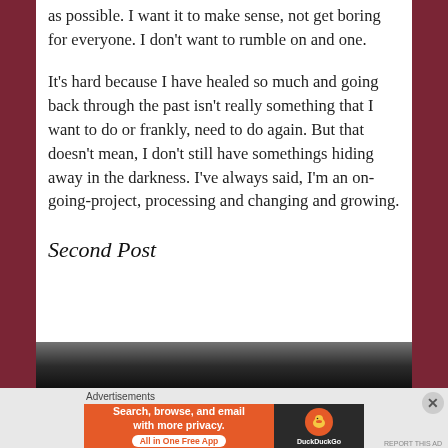as possible. I want it to make sense, not get boring for everyone. I don't want to rumble on and one.
It's hard because I have healed so much and going back through the past isn't really something that I want to do or frankly, need to do again. But that doesn't mean, I don't still have somethings hiding away in the darkness. I've always said, I'm an on-going-project, processing and changing and growing.
Second Post
[Figure (photo): Partial image strip, dark/grayscale, appears to be a photograph partially visible at bottom of content area]
Advertisements
[Figure (screenshot): DuckDuckGo advertisement banner: orange section with text 'Search, browse, and email with more privacy. All in One Free App' and dark section with DuckDuckGo logo]